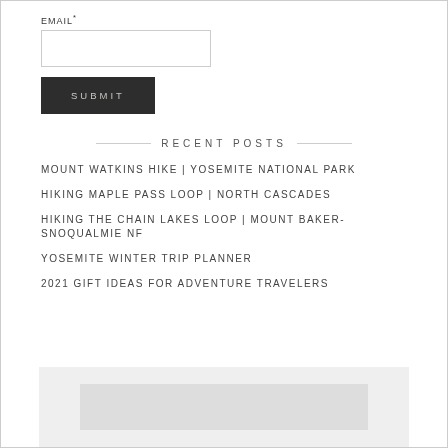EMAIL*
SUBMIT
RECENT POSTS
MOUNT WATKINS HIKE | YOSEMITE NATIONAL PARK
HIKING MAPLE PASS LOOP | NORTH CASCADES
HIKING THE CHAIN LAKES LOOP | MOUNT BAKER-SNOQUALMIE NF
YOSEMITE WINTER TRIP PLANNER
2021 GIFT IDEAS FOR ADVENTURE TRAVELERS
[Figure (other): Light gray box with inner lighter gray rectangle, appears to be a widget or image placeholder at bottom of page]